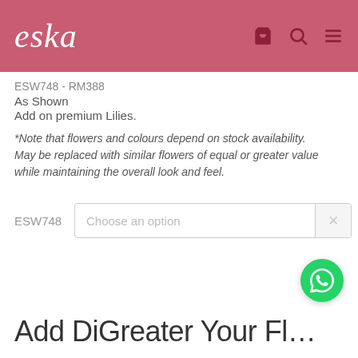eska
ESW748 - RM388
As Shown
Add on premium Lilies.
*Note that flowers and colours depend on stock availability.
May be replaced with similar flowers of equal or greater value while maintaining the overall look and feel.
ESW748  Choose an option
Add Div Greater Your Fl…